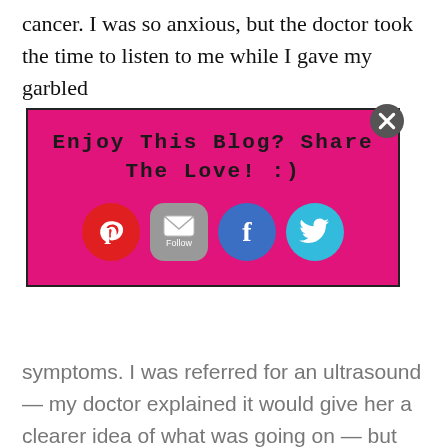cancer. I was so anxious, but the doctor took the time to listen to me while I gave my garbled
[Figure (infographic): Hot pink popup box with text 'Enjoy This Blog? Share The Love! :)' and social media share icons for Pinterest, Follow (email), Facebook, and Twitter. Has a close (X) button in top right corner.]
symptoms. I was referred for an ultrasound — my doctor explained it would give her a clearer idea of what was going on — but she also took some time to reassure me that it could very easily be something simple to treat and not cancer at all.